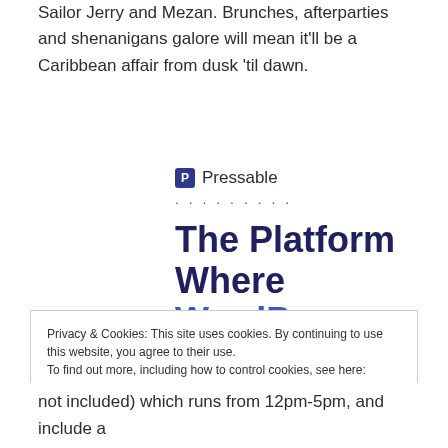Sailor Jerry and Mezan. Brunches, afterparties and shenanigans galore will mean it'll be a Caribbean affair from dusk 'til dawn.
[Figure (logo): Pressable logo: dark blue square icon with letter P, followed by text 'Pressable', with dotted line separator below]
The Platform Where WordPress Works Best
Privacy & Cookies: This site uses cookies. By continuing to use this website, you agree to their use.
To find out more, including how to control cookies, see here: Cookie Policy
[Close and accept button]
not included) which runs from 12pm-5pm, and include a